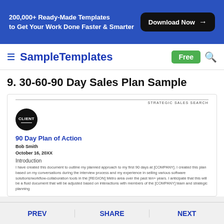200,000+ Ready-Made Templates to Get Your Work Done Faster & Smarter  Download Now →
≡ SampleTemplates  Free 🔍
9. 30-60-90 Day Sales Plan Sample
[Figure (screenshot): Document preview card showing a 90 Day Plan of Action template with CLIENT logo, author Bob Smith, date October 16, 20XX, Introduction heading, and introductory text about planned approach to first 90 days at [COMPANY].]
PREV  SHARE  NEXT